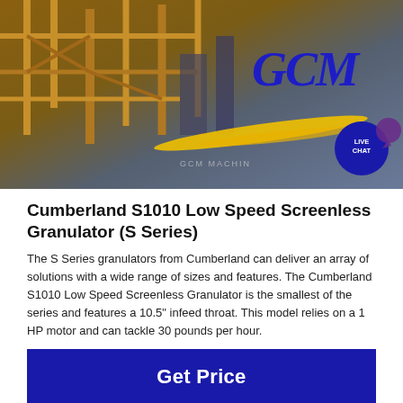[Figure (photo): Industrial machinery/scaffolding with GCM logo and yellow swoosh, Live Chat bubble in corner]
Cumberland S1010 Low Speed Screenless Granulator (S Series)
The S Series granulators from Cumberland can deliver an array of solutions with a wide range of sizes and features. The Cumberland S1010 Low Speed Screenless Granulator is the smallest of the series and features a 10.5" infeed throat. This model relies on a 1 HP motor and can tackle 30 pounds per hour.
Get Price
[Figure (photo): Landscape photo with mountains and overcast sky]